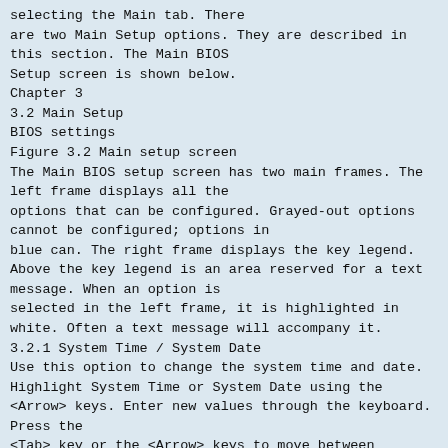selecting the Main tab. There are two Main Setup options. They are described in this section. The Main BIOS Setup screen is shown below.
Chapter 3
3.2 Main Setup
BIOS settings
Figure 3.2 Main setup screen
The Main BIOS setup screen has two main frames. The left frame displays all the options that can be configured. Grayed-out options cannot be configured; options in blue can. The right frame displays the key legend. Above the key legend is an area reserved for a text message. When an option is selected in the left frame, it is highlighted in white. Often a text message will accompany it.
3.2.1 System Time / System Date
Use this option to change the system time and date. Highlight System Time or System Date using the <Arrow> keys. Enter new values through the keyboard. Press the <Tab> key or the <Arrow> keys to move between fields. The date must be entered in MM/DD/YY format. The time must be entered in HH:MM:SS format.
11
SOM-6763 User Manual
3.3 Advanced BIOS Features Setup
Select the Advanced tab from the SOM-6763 setup screen to enter the Advanced BIOS Setup screen. Users can select any item in the